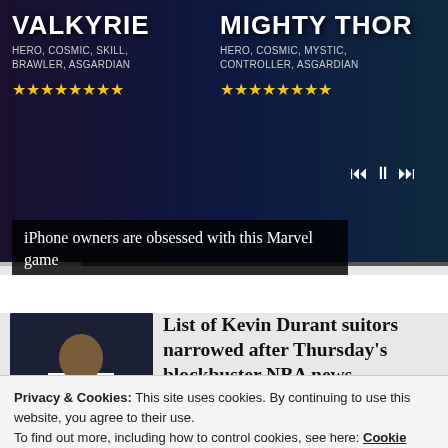[Figure (screenshot): Marvel game advertisement showing Valkyrie and Mighty Thor characters with star ratings and playback controls]
iPhone owners are obsessed with this Marvel game
[Figure (photo): Kevin Durant in Brooklyn Nets jersey]
List of Kevin Durant suitors narrowed after Thursday's blockbuster NBA news
Sportsnaut
Privacy & Cookies: This site uses cookies. By continuing to use this website, you agree to their use.
To find out more, including how to control cookies, see here: Cookie Policy
Close and accept
[Figure (photo): Partial view of another sports article image at bottom]